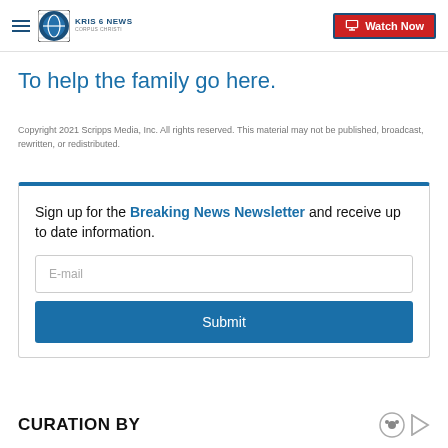KRIS 6 NEWS CORPUS CHRISTI | Watch Now
To help the family go here.
Copyright 2021 Scripps Media, Inc. All rights reserved. This material may not be published, broadcast, rewritten, or redistributed.
Sign up for the Breaking News Newsletter and receive up to date information.
CURATION BY